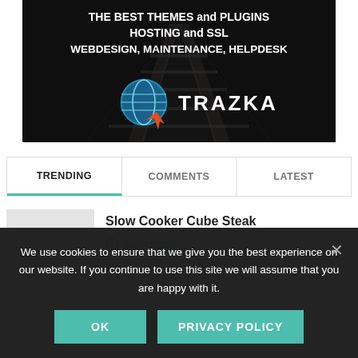[Figure (illustration): Trazka advertisement banner with dark railway track background. Bold white uppercase text: 'THE BEST THEMES and PLUGINS HOSTING and SSL WEBDESIGN, MAINTENANCE, HELPDESK'. Trazka logo with globe icon and cursor, name in white bold letters.]
TRENDING | COMMENTS | LATEST
Slow Cooker Cube Steak
10/21/2020
We use cookies to ensure that we give you the best experience on our website. If you continue to use this site we will assume that you are happy with it.
OK | PRIVACY POLICY